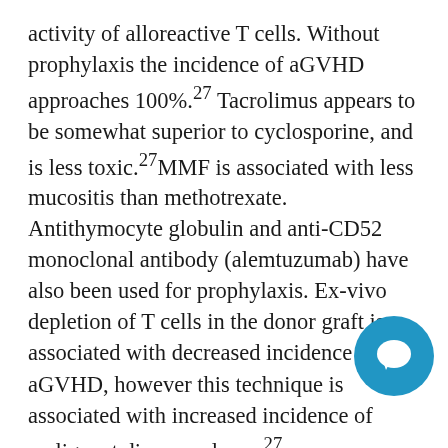activity of alloreactive T cells. Without prophylaxis the incidence of aGVHD approaches 100%.27 Tacrolimus appears to be somewhat superior to cyclosporine, and is less toxic.27MMF is associated with less mucositis than methotrexate. Antithymocyte globulin and anti-CD52 monoclonal antibody (alemtuzumab) have also been used for prophylaxis. Ex-vivo depletion of T cells in the donor graft is associated with decreased incidence of aGVHD, however this technique is associated with increased incidence of malignant disease relapse.27 First line treatment of aGVHD consists of corticosteroids.23, 27, 30 Patients are usually started on methylprednisolone 2mg/Kg/da... the dose is slowly tapered depending on clinical response. Roughly 25% of patients will experience
[Figure (other): Blue circular chat/comment bubble icon overlaid on bottom-right of text]